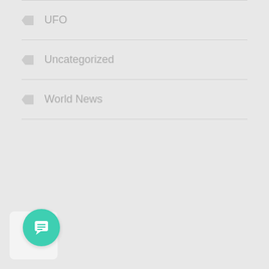UFO
Uncategorized
World News
[Figure (illustration): Teal/green circular chat button icon with a speech bubble containing horizontal lines, positioned in the bottom-left corner]